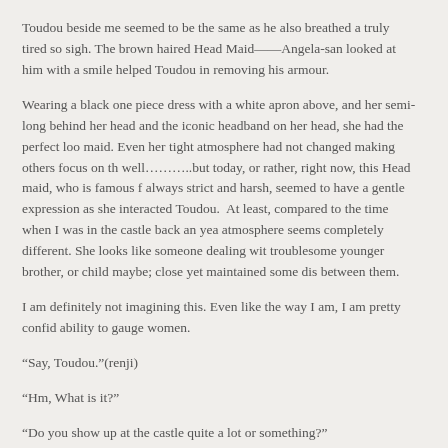Toudou beside me seemed to be the same as he also breathed a truly tired so sigh. The brown haired Head Maid——Angela-san looked at him with a smile helped Toudou in removing his armour.
Wearing a black one piece dress with a white apron above, and her semi-long behind her head and the iconic headband on her head, she had the perfect loo maid. Even her tight atmosphere had not changed making others focus on th well………..but today, or rather, right now, this Head maid, who is famous f always strict and harsh, seemed to have a gentle expression as she interacted Toudou.  At least, compared to the time when I was in the castle back an yea atmosphere seems completely different. She looks like someone dealing wit troublesome younger brother, or child maybe; close yet maintained some dis between them.
I am definitely not imagining this. Even like the way I am, I am pretty confid ability to gauge women.
“Say, Toudou.”(renji)
“Hm, What is it?”
“Do you show up at the castle quite a lot or something?”
When I asked that, he looked at me with puzzled face having not understood asking that.